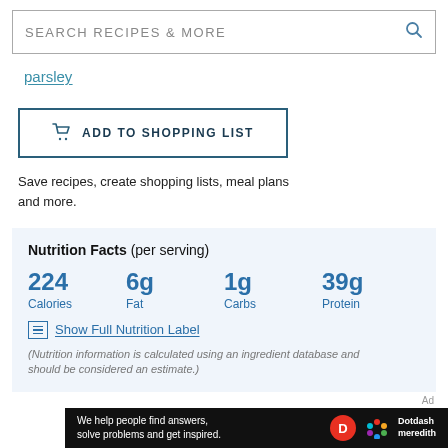SEARCH RECIPES & MORE
parsley
ADD TO SHOPPING LIST
Save recipes, create shopping lists, meal plans and more.
Nutrition Facts (per serving)
| Calories | Fat | Carbs | Protein |
| --- | --- | --- | --- |
| 224 | 6g | 1g | 39g |
Show Full Nutrition Label
(Nutrition information is calculated using an ingredient database and should be considered an estimate.)
[Figure (other): Dotdash Meredith advertisement banner: 'We help people find answers, solve problems and get inspired.']